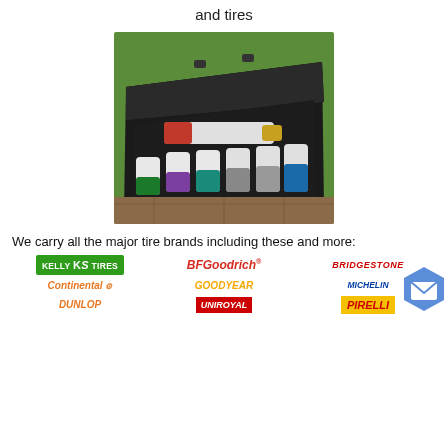and tires
[Figure (photo): A black carrying case open on grass, containing colorful lug nut socket tools — a long red/white torque adapter and seven sockets with colored rings (green, purple, teal, silver, silver, teal/blue, blue) in white sleeves.]
We carry all the major tire brands including these and more:
[Figure (infographic): Grid of 9 tire brand logos: Kelly KS Tires (green), BFGoodrich (red italic), Bridgestone (red italic), Continental (orange), Goodyear (gold italic), Michelin (blue italic with figure), Dunlop (orange italic), Uniroyal (red background white italic), Pirelli (yellow background red italic). A blue hexagon mail icon appears overlapping top-right corner.]